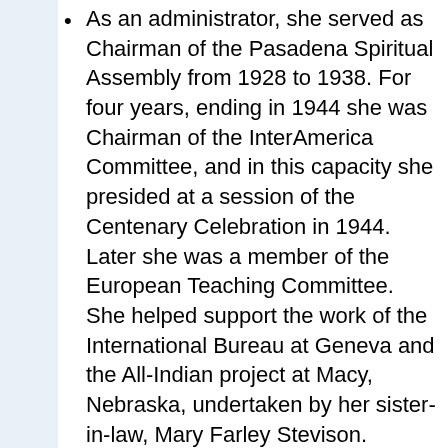As an administrator, she served as Chairman of the Pasadena Spiritual Assembly from 1928 to 1938. For four years, ending in 1944 she was Chairman of the InterAmerica Committee, and in this capacity she presided at a session of the Centenary Celebration in 1944. Later she was a member of the European Teaching Committee. She helped support the work of the International Bureau at Geneva and the All-Indian project at Macy, Nebraska, undertaken by her sister-in-law, Mary Farley Stevison.
In April, 1952, thirty-one years to the day, Nellie French returned Mt. Carmel to meet the beloved Guardian in person. During the Holy Year which was also the first year of the World Spiritual Crusade, Nellie French settled in the principality of Monaco to win the accolade, "Knight of Bahá'u'lláh...